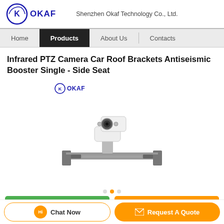OKAF  Shenzhen Okaf Technology Co., Ltd.
Home | Products | About Us | Contacts
Infrared PTZ Camera Car Roof Brackets Antiseismic Booster Single - Side Seat
[Figure (photo): PTZ camera mounted on a metallic car roof bracket, shown at an angle. The OKAF logo appears above the product image.]
Chat Now   Request A Quote